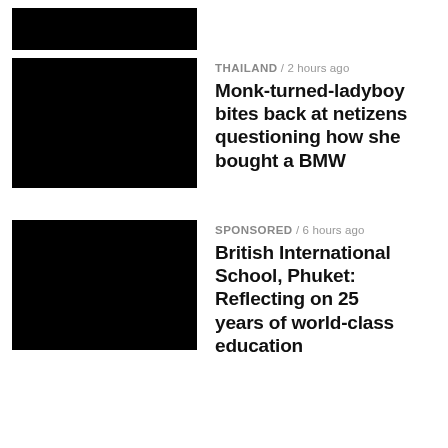[Figure (photo): Small black thumbnail image at top]
[Figure (photo): Black thumbnail image for Thailand story]
THAILAND / 2 hours ago
Monk-turned-ladyboy bites back at netizens questioning how she bought a BMW
[Figure (photo): Black thumbnail image for Sponsored story]
SPONSORED / 6 hours ago
British International School, Phuket: Reflecting on 25 years of world-class education
[Figure (photo): Black thumbnail image for Bangkok story]
BANGKOK / 2 hours ago
Taiwanese YouTuber loses items worth 154,000 baht in Bangkok